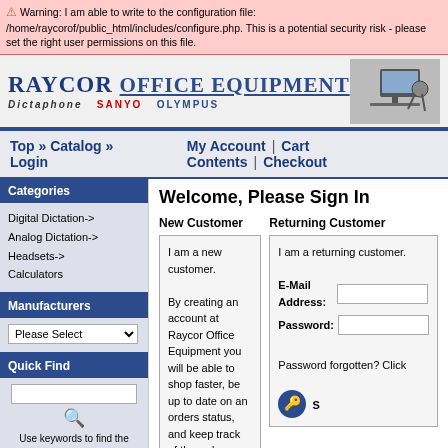⚠ Warning: I am able to write to the configuration file: /home/raycorof/public_html/includes/configure.php. This is a potential security risk - please set the right user permissions on this file.
[Figure (logo): Raycor Office Equipment logo with Dictaphone, Sanyo, Olympus brands and office equipment image]
Top » Catalog » Login   My Account  |  Cart Contents  |  Checkout
Categories
Digital Dictation->
Analog Dictation->
Headsets->
Calculators
Manufacturers
Quick Find
Use keywords to find the product you are looking for. Advanced Search
Welcome, Please Sign In
New Customer
I am a new customer.

By creating an account at Raycor Office Equipment you will be able to shop faster, be up to date on an orders status, and keep track of the orders you have previously made.
Returning Customer
I am a returning customer.

E-Mail Address:
Password:

Password forgotten? Click